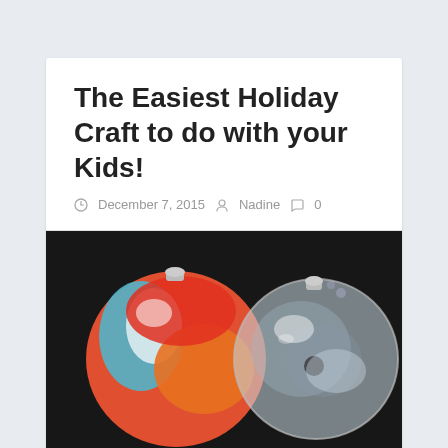The Easiest Holiday Craft to do with your Kids!
December 7, 2015  Nadine  0
[Figure (photo): Two holiday ornament balls on a dark surface — one colorful (red, orange, blue, white swirls) on the left, and one clear/transparent on the right.]